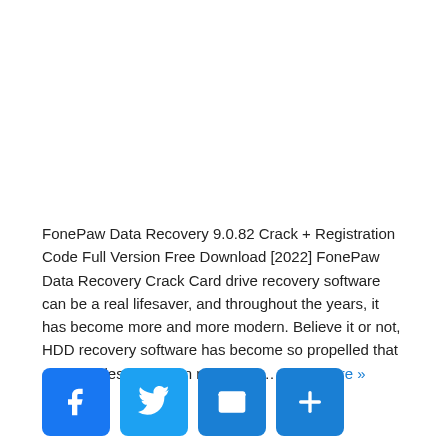FonePaw Data Recovery 9.0.82 Crack + Registration Code Full Version Free Download [2022] FonePaw Data Recovery Crack Card drive recovery software can be a real lifesaver, and throughout the years, it has become more and more modern. Believe it or not, HDD recovery software has become so propelled that even modest tools can read data… Read More »
[Figure (other): Row of four social sharing icon buttons: Facebook (blue f), Twitter (blue bird), Email (blue envelope), More/Share (blue plus sign)]